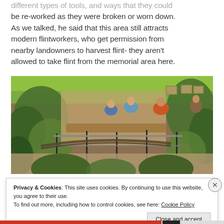different types of tools, and ways that they could be re-worked as they were broken or worn down. As we talked, he said that this area still attracts modern flintworkers, who get permission from nearby landowners to harvest flint- they aren't allowed to take flint from the memorial area here.
[Figure (photo): Interior of a visitor center or museum exhibit with plants, a railing, display tables, and visitors looking at exhibits in the background.]
Privacy & Cookies: This site uses cookies. By continuing to use this website, you agree to their use. To find out more, including how to control cookies, see here: Cookie Policy